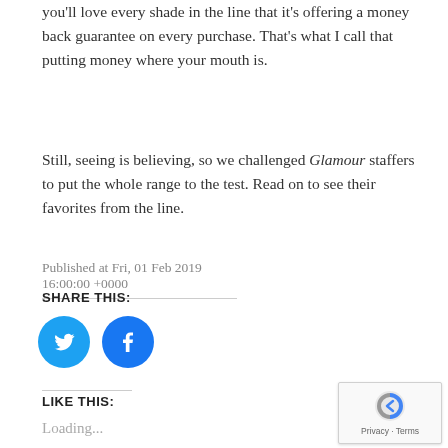you'll love every shade in the line that it's offering a money back guarantee on every purchase. That's what I call that putting money where your mouth is.
Still, seeing is believing, so we challenged Glamour staffers to put the whole range to the test. Read on to see their favorites from the line.
Published at Fri, 01 Feb 2019 16:00:00 +0000
SHARE THIS:
[Figure (other): Twitter and Facebook circular share icon buttons in blue]
LIKE THIS:
Loading...
[Figure (other): Google reCAPTCHA badge with Privacy and Terms links]